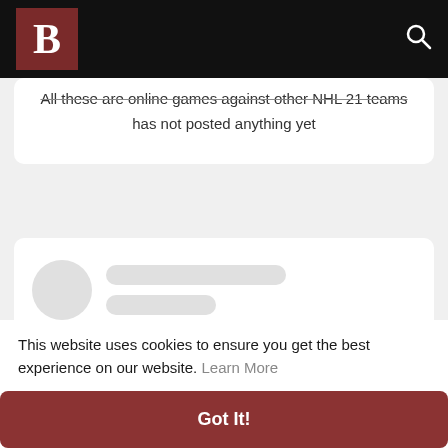B [logo] [search icon]
All these are online games against other NHL 21 teams has not posted anything yet
[Figure (other): Loading skeleton placeholder with a gray circle and two gray horizontal bars representing a loading state]
This website uses cookies to ensure you get the best experience on our website. Learn More
Got It!